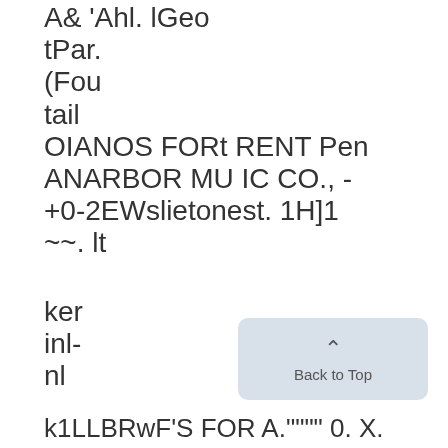A& 'Ahl. lGeo
tPar.
(Fou
tail
OIANOS FORt RENT Pen
ANARBOR MU IC CO., -
+0-2EWslietonest. 1H]1
~~. lt

ker
inl-
nl

k1LLBRwF'S FOR A."""" 0. X. MARTIN,
[Figure (other): Back to Top button UI element with upward arrow]